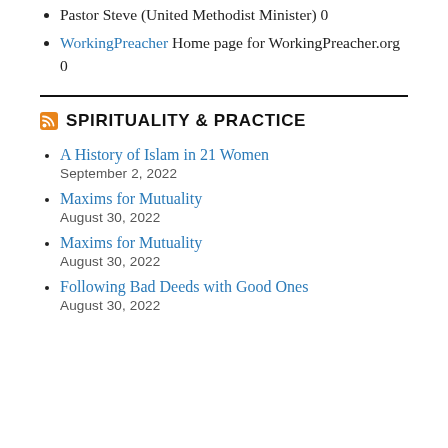Pastor Steve (United Methodist Minister) 0
WorkingPreacher Home page for WorkingPreacher.org 0
SPIRITUALITY & PRACTICE
A History of Islam in 21 Women
September 2, 2022
Maxims for Mutuality
August 30, 2022
Maxims for Mutuality
August 30, 2022
Following Bad Deeds with Good Ones
August 30, 2022